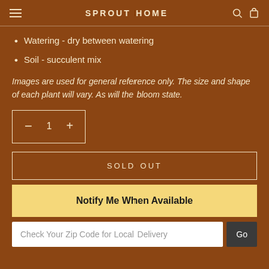SPROUT HOME
Watering - dry between watering
Soil - succulent mix
Images are used for general reference only. The size and shape of each plant will vary. As will the bloom state.
- 1 +
SOLD OUT
Notify Me When Available
Check Your Zip Code for Local Delivery